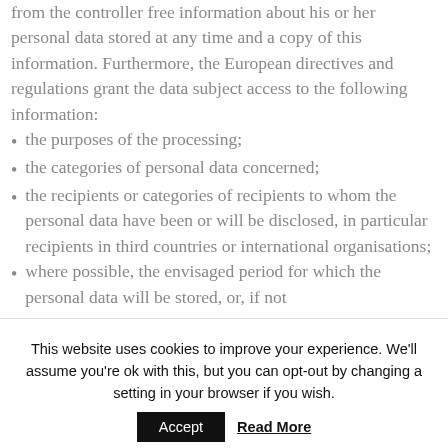from the controller free information about his or her personal data stored at any time and a copy of this information. Furthermore, the European directives and regulations grant the data subject access to the following information:
the purposes of the processing;
the categories of personal data concerned;
the recipients or categories of recipients to whom the personal data have been or will be disclosed, in particular recipients in third countries or international organisations;
where possible, the envisaged period for which the personal data will be stored, or, if not
This website uses cookies to improve your experience. We'll assume you're ok with this, but you can opt-out by changing a setting in your browser if you wish.